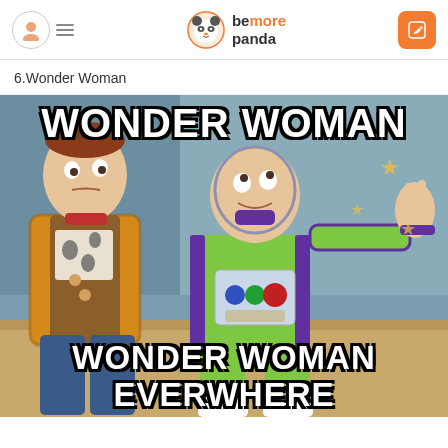bemore panda
6.Wonder Woman
[Figure (illustration): Meme image: Woody and Buzz Lightyear from Toy Story. Buzz gestures with his arm outstretched. White bold meme text at top reads 'WONDER WOMAN' and at bottom reads 'WONDER WOMAN EVERWHERE']